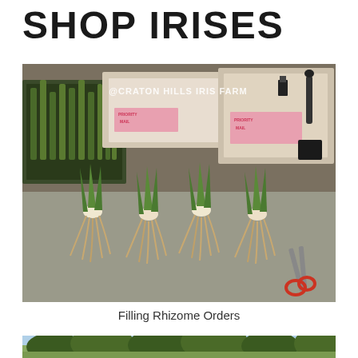SHOP IRISES
[Figure (photo): Photo of iris rhizomes laid out on a table ready for shipping, with USPS priority mail boxes in background, scissors visible, watermark text '@CRATON HILLS IRIS FARM']
Filling Rhizome Orders
[Figure (photo): Partial photo at bottom of page showing trees and landscape, cropped]